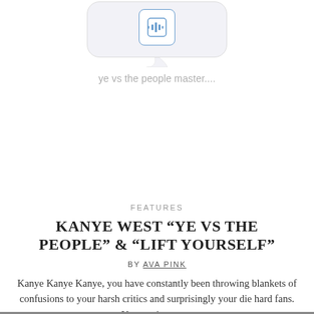[Figure (screenshot): Screenshot of a chat message bubble showing an audio file icon and text 'ye vs the people master....']
FEATURES
KANYE WEST “YE VS THE PEOPLE” & “LIFT YOURSELF”
BY AVA PINK
Kanye Kanye Kanye, you have constantly been throwing blankets of confusions to your harsh critics and surprisingly your die hard fans. Your antics are…
READ MORE